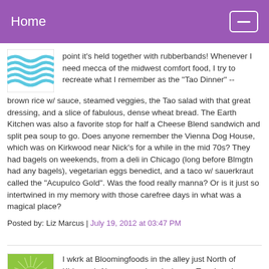Home
point it's held together with rubberbands! Whenever I need mecca of the midwest comfort food, I try to recreate what I remember as the "Tao Dinner" -- brown rice w/ sauce, steamed veggies, the Tao salad with that great dressing, and a slice of fabulous, dense wheat bread. The Earth Kitchen was also a favorite stop for half a Cheese Blend sandwich and split pea soup to go. Does anyone remember the Vienna Dog House, which was on Kirkwood near Nick's for a while in the mid 70s? They had bagels on weekends, from a deli in Chicago (long before Blmgtn had any bagels), vegetarian eggs benedict, and a taco w/ sauerkraut called the "Acupulco Gold". Was the food really manna? Or is it just so intertwined in my memory with those carefree days in what was a magical place?
Posted by: Liz Marcus | July 19, 2012 at 03:47 PM
I wkrk at Bloomingfoods in the alley just North of Kirkwood. Always wondered why our Tao dressing was called such! We also still carry Rudi's bread. I